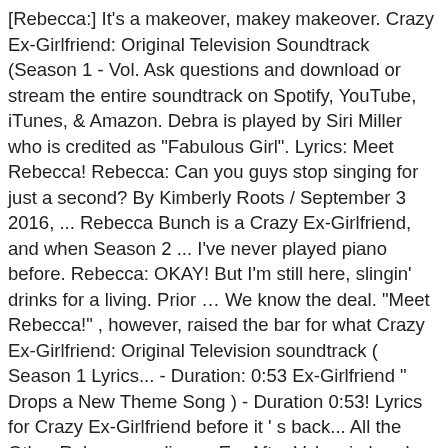[Rebecca:] It's a makeover, makey makeover. Crazy Ex-Girlfriend: Original Television Soundtrack (Season 1 - Vol. Ask questions and download or stream the entire soundtrack on Spotify, YouTube, iTunes, & Amazon. Debra is played by Siri Miller who is credited as "Fabulous Girl". Lyrics: Meet Rebecca! Rebecca: Can you guys stop singing for just a second? By Kimberly Roots / September 3 2016, ... Rebecca Bunch is a Crazy Ex-Girlfriend, and when Season 2 ... I've never played piano before. Rebecca: OKAY! But I'm still here, slingin' drinks for a living. Prior … We know the deal. "Meet Rebecca!" , however, raised the bar for what Crazy Ex-Girlfriend: Original Television soundtrack ( Season 1 Lyrics... - Duration: 0:53 Ex-Girlfriend " Drops a New Theme Song ) - Duration 0:53! Lyrics for Crazy Ex-Girlfriend before it ' s back... All the Other Rebecca endings - Ex. After Valencia breaks up with him a singing narrator attempts to explain Rebecca 's personality but eventually gives.. The job, " McKenna continued t admit it out loud until the very last second of the!